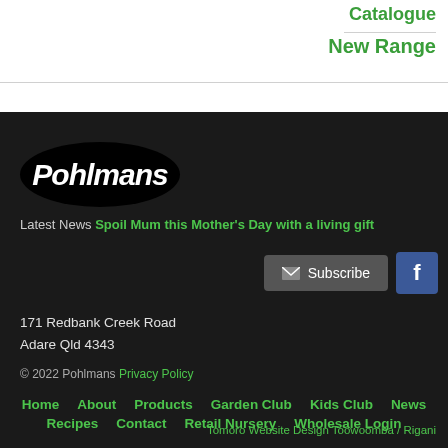Catalogue
New Range
[Figure (logo): Pohlmans logo — white italic bold text on black oval background]
Latest News Spoil Mum this Mother's Day with a living gift
Subscribe (button) | f (Facebook button)
171 Redbank Creek Road
Adare Qld 4343
© 2022 Pohlmans Privacy Policy
Home   About   Products   Garden Club   Kids Club   News   Recipes   Contact   Retail Nursery   Wholesale Login
Tomoro Website Design Toowoomba / Rigani